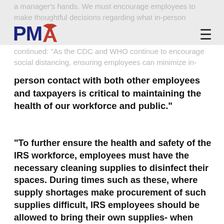PMA [logo with hamburger menu]
a manager's hands. We must encourage employees to make thoughtful decisions regarding what in-person
continued: "As the CDC and WHO continue to encourage social distancing, ensuring employees can minimize in-
person contact with both other employees and taxpayers is critical to maintaining the health of our workforce and public."
“To further ensure the health and safety of the IRS workforce, employees must have the necessary cleaning supplies to disinfect their spaces. During times such as these, where supply shortages make procurement of such supplies difficult, IRS employees should be allowed to bring their own supplies- when comparable to the approved supplies- into the office to clean their workspace. Regardless of where the supplies come from, employees continuing to come into work should be able to clean their office workspaces rather than risk